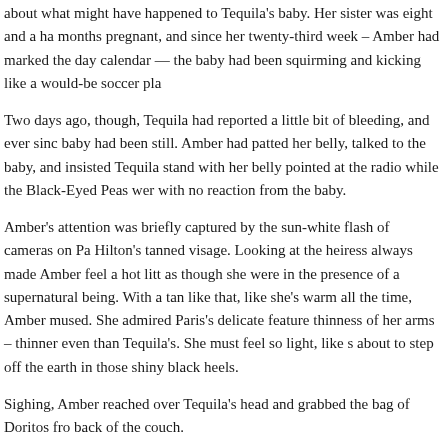about what might have happened to Tequila's baby. Her sister was eight and a half months pregnant, and since her twenty-third week – Amber had marked the day on the calendar — the baby had been squirming and kicking like a would-be soccer player.
Two days ago, though, Tequila had reported a little bit of bleeding, and ever since the baby had been still. Amber had patted her belly, talked to the baby, and insisted that Tequila stand with her belly pointed at the radio while the Black-Eyed Peas were on, with no reaction from the baby.
Amber's attention was briefly captured by the sun-white flash of cameras on Paris Hilton's tanned visage. Looking at the heiress always made Amber feel a hot little thrill, as though she were in the presence of a supernatural being. With a tan like that, she's like she's warm all the time, Amber mused. She admired Paris's delicate features and the thinness of her arms – thinner even than Tequila's. She must feel so light, like she's about to step off the earth in those shiny black heels.
Sighing, Amber reached over Tequila's head and grabbed the bag of Doritos from the back of the couch.
“Jesus, are you eating again?” Tequila snapped.